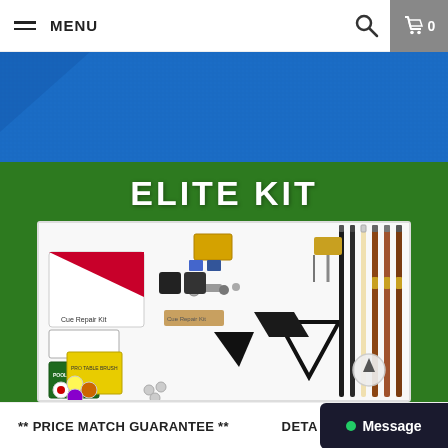MENU
[Figure (photo): E-commerce product page screenshot showing an Elite Kit for billiards/pool. Top navigation bar with MENU, search and cart icons. Hero image with blue felt texture at top, green felt with 'ELITE KIT' title, and product image showing pool cues, chalk, cue repair kit, triangle, and accessories on white background. Bottom bar with price match guarantee and message button.]
ELITE KIT
** PRICE MATCH GUARANTEE **
DETA